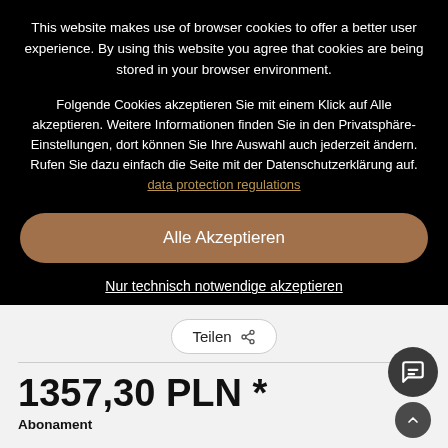This website makes use of browser cookies to offer a better user experience. By using this website you agree that cookies are being stored in your browser environment.
Folgende Cookies akzeptieren Sie mit einem Klick auf Alle akzeptieren. Weitere Informationen finden Sie in den Privatsphäre-Einstellungen, dort können Sie Ihre Auswahl auch jederzeit ändern. Rufen Sie dazu einfach die Seite mit der Datenschutzerklärung auf. data protection regulations
Alle Akzeptieren
Nur technisch notwendige akzeptieren
Teilen
1357,30 PLN *
Abonament
Interwał dostawy:
12 Miesiąc(e)
Unbegrenzte Laufzeit: